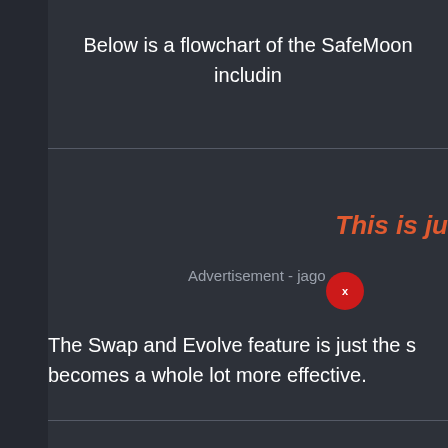Below is a flowchart of the SafeMoon includin
This is ju
Advertisement - jago
[Figure (other): Red circular close/dismiss button with an X, used for closing an advertisement overlay]
The Swap and Evolve feature is just the s becomes a whole lot more effective.